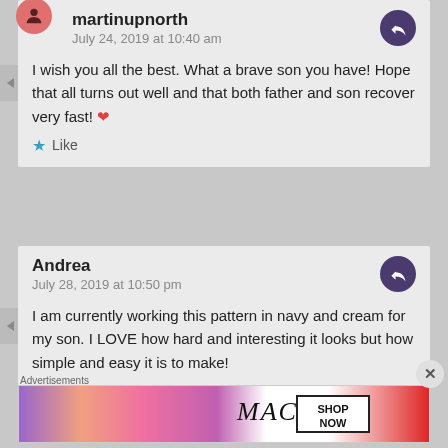martinupnorth
July 24, 2019 at 10:40 am

I wish you all the best. What a brave son you have! Hope that all turns out well and that both father and son recover very fast! ❤

★ Like
Andrea
July 28, 2019 at 10:50 pm

I am currently working this pattern in navy and cream for my son. I LOVE how hard and interesting it looks but how simple and easy it is to make!
Advertisements
[Figure (photo): MAC cosmetics advertisement banner showing colorful lipsticks with MAC logo and SHOP NOW button]